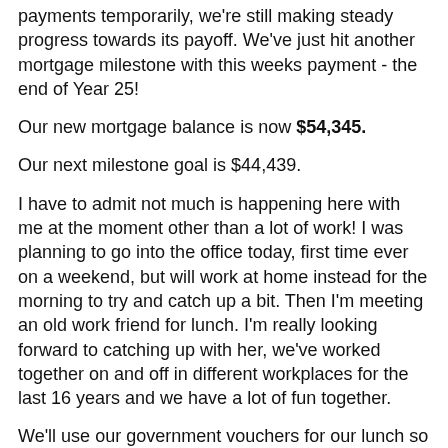payments temporarily, we're still making steady progress towards its payoff. We've just hit another mortgage milestone with this weeks payment -  the end of Year 25!
Our new mortgage balance is now $54,345.
Our next milestone goal is $44,439.
I have to admit not much is happening here with me at the moment other than a lot of work! I was planning to go into the office today, first time ever on a weekend,  but will work at home instead for the morning to try and catch up a bit. Then I'm meeting an old work friend for lunch. I'm really looking forward to catching up with her, we've worked together on and off in different workplaces for the last 16 years and we have a lot of fun together.
We'll use our government vouchers for our lunch so it won't cost much. The NSW government gave each person $100 in vouchers - two $25 ones for dining in a cafe or restaurant and two $25 ones for visiting any tourist attraction, so museums, events, theme parks. I have until the end of June to use them so I need to plan a visit somewhere in the next